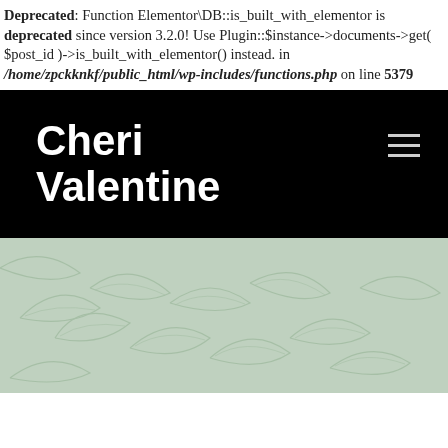Deprecated: Function Elementor\DB::is_built_with_elementor is deprecated since version 3.2.0! Use Plugin::$instance->documents->get( $post_id )->is_built_with_elementor() instead. in /home/zpckknkf/public_html/wp-includes/functions.php on line 5379
Cheri Valentine
[Figure (photo): Muted greenish-grey background with fern or leaf texture pattern, serving as a hero image for the website.]